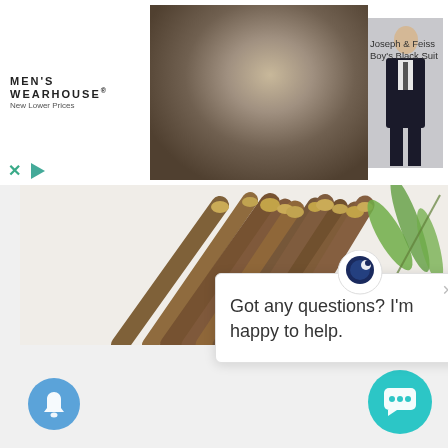[Figure (screenshot): Men's Wearhouse advertisement banner showing couple in formal wear and boy's black suit]
MEN'S WEARHOUSE®
New Lower Prices
Joseph & Feiss Boy's Black Suit
[Figure (photo): Close-up photo of dried herb sticks/roots with green leaves]
[Figure (screenshot): Chat bot popup with icon showing 'Got any questions? I'm happy to help.' message with close button]
Got any questions? I'm happy to help.